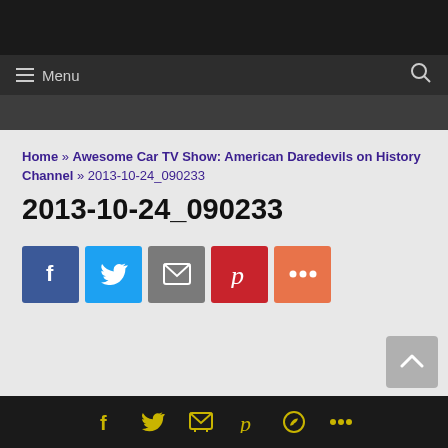Menu
Home » Awesome Car TV Show: American Daredevils on History Channel » 2013-10-24_090233
2013-10-24_090233
[Figure (other): Social share buttons: Facebook (blue), Twitter (light blue), Email (gray), Pinterest (red), More (orange)]
Social icons: Facebook, Twitter, Email, Pinterest, WhatsApp, More